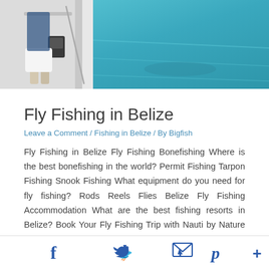[Figure (photo): Person standing on the bow of a white boat on turquoise water in Belize, viewed from above/behind]
Fly Fishing in Belize
Leave a Comment / Fishing in Belize / By Bigfish
Fly Fishing in Belize Fly Fishing Bonefishing Where is the best bonefishing in the world? Permit Fishing Tarpon Fishing Snook Fishing What equipment do you need for fly fishing? Rods Reels Flies Belize Fly Fishing Accommodation What are the best fishing resorts in Belize? Book Your Fly Fishing Trip with Nauti by Nature Gold Standard …
Read More »
[Figure (infographic): Social media icon bar with Facebook, Twitter, Email, Pinterest, and More (+) icons]